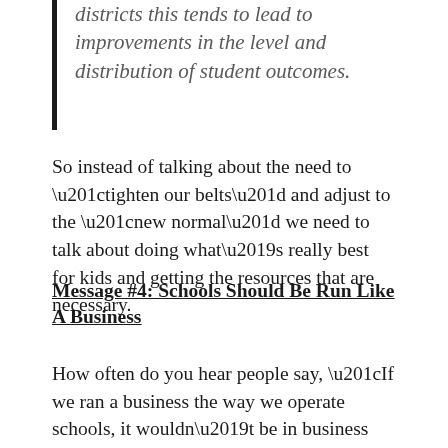districts this tends to lead to improvements in the level and distribution of student outcomes.
So instead of talking about the need to “tighten our belts” and adjust to the “new normal” we need to talk about doing what’s really best for kids and getting the resources that are necessary.
Message #4: Schools Should Be Run Like A Business
How often do you hear people say, “If we ran a business the way we operate schools, it wouldn’t be in business very long”?